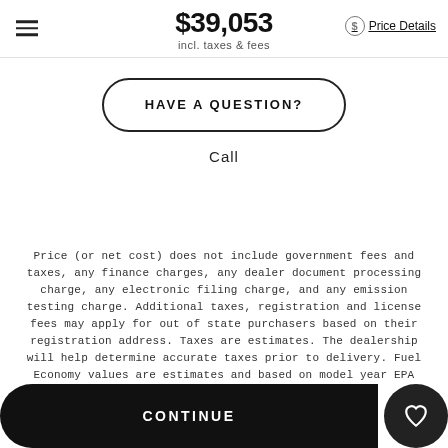$39,053 incl. taxes & fees Price Details
HAVE A QUESTION?
Call
Price (or net cost) does not include government fees and taxes, any finance charges, any dealer document processing charge, any electronic filing charge, and any emission testing charge. Additional taxes, registration and license fees may apply for out of state purchasers based on their registration address. Taxes are estimates. The dealership will help determine accurate taxes prior to delivery. Fuel Economy values are estimates and based on model year EPA mileage ratings. Use for
CONTINUE